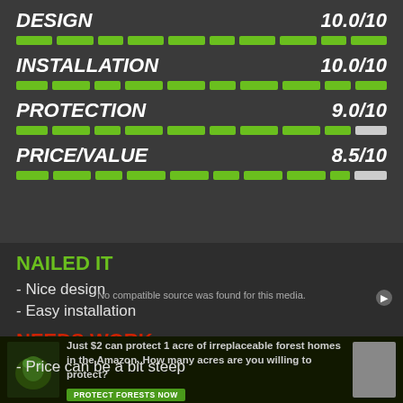DESIGN 10.0/10
[Figure (bar-chart): DESIGN rating bar]
INSTALLATION 10.0/10
[Figure (bar-chart): INSTALLATION rating bar]
PROTECTION 9.0/10
[Figure (bar-chart): PROTECTION rating bar]
PRICE/VALUE 8.5/10
[Figure (bar-chart): PRICE/VALUE rating bar]
NAILED IT
- Nice design
- Easy installation
NEEDS WORK
- Price can be a bit steep